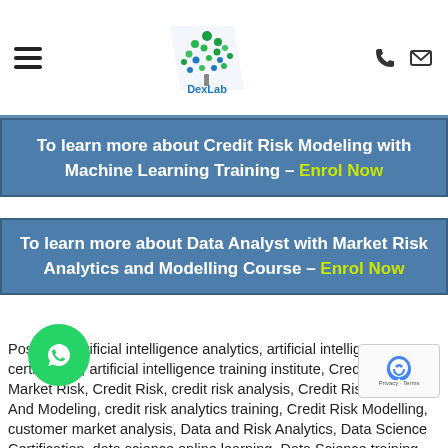DexLab header with hamburger menu, logo, phone and mail icons
To learn more about Credit Risk Modeling with Machine Learning Training – Enrol Now
To learn more about Data Analyst with Market Risk Analytics and Modelling Course – Enrol Now
Posted in artificial intelligence analytics, artificial intelligence certification, artificial intelligence training institute, Credit and Market Risk, Credit Risk, credit risk analysis, Credit Risk Analytics And Modeling, credit risk analytics training, Credit Risk Modelling, customer market analysis, Data and Risk Analytics, Data Science Certification, data science online learning, Data Science training, Data Science training institute, Deep Learning Training, Deep Learning Training Courses, Deep learning Training Institutes, Machine Learning Certification, Machine Learning course, Machine Learning course in Gurgaon, Machine Learning course online, Machine Learning Courses, Machine Learning Training, Machine Learning Using Python, Online Data Science Certification, Python certification, python certification course, python data science course, Python for data analysis, Risk Management Courses, risk management courses online, Risk Management in BankingTagged artificial intelligence training institute in Gurgaon, credit risk analysis course in Delhi, credit